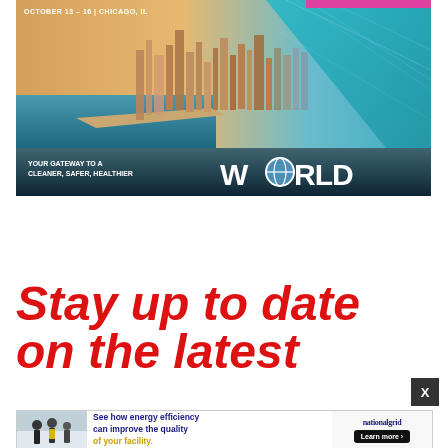[Figure (illustration): Conference banner ad showing Chicago skyline aerial photo with cyan/teal geometric overlay, pink accent bar, text 'YOUR GATEWAY TO A CLEANER, SAFER, HEALTHIER WORLD' at bottom]
Stay up to date on the latest
[Figure (illustration): National Grid advertisement: 'See how energy efficiency can improve the quality of your facility.' with Learn more button, showing workers in safety vests]